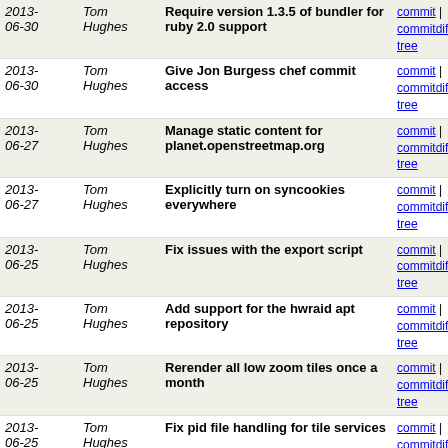| Date | Author | Message | Links |
| --- | --- | --- | --- |
| 2013-06-30 | Tom Hughes | Require version 1.3.5 of bundler for ruby 2.0 support | commit | commitdiff | tree |
| 2013-06-30 | Tom Hughes | Give Jon Burgess chef commit access | commit | commitdiff | tree |
| 2013-06-27 | Tom Hughes | Manage static content for planet.openstreetmap.org | commit | commitdiff | tree |
| 2013-06-27 | Tom Hughes | Explicitly turn on syncookies everywhere | commit | commitdiff | tree |
| 2013-06-25 | Tom Hughes | Fix issues with the export script | commit | commitdiff | tree |
| 2013-06-25 | Tom Hughes | Add support for the hwraid apt repository | commit | commitdiff | tree |
| 2013-06-25 | Tom Hughes | Rerender all low zoom tiles once a month | commit | commitdiff | tree |
| 2013-06-25 | Tom Hughes | Fix pid file handling for tile services | commit | commitdiff | tree |
| 2013-06-25 | Tom Hughes | Improve low zoom rerender script | commit | commitdiff | tree |
| 2013-06-24 | Tom Hughes | Improve detection of nf_conntrack | commit | commitdiff | tree |
| 2013-06-23 | Tom Hughes | Update list of backups to expire | commit | commitdiff | tree |
| 2013-06-23 | Tom Hughes | Move blog backup script to the right cookbook | commit | commitdiff | tree |
| 2013-06-23 | Tom Hughes | Fix typos | commit | commitdiff | tree |